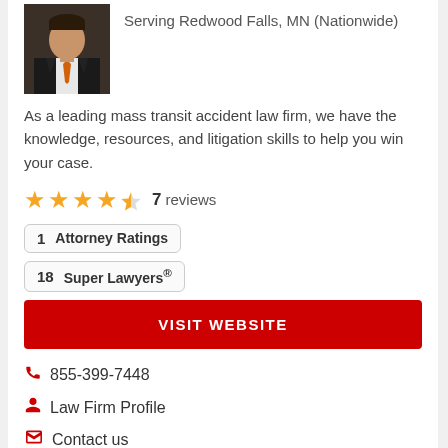[Figure (photo): Attorney headshot photo — man in dark suit with orange tie]
Serving Redwood Falls, MN (Nationwide)
As a leading mass transit accident law firm, we have the knowledge, resources, and litigation skills to help you win your case.
★★★★½  7  reviews
1  Attorney Ratings
18  Super Lawyers®
VISIT WEBSITE
855-399-7448
Law Firm Profile
Contact us
FREE CONSULTATION